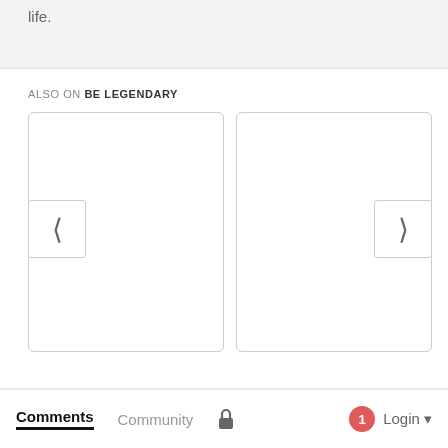life.
ALSO ON BE LEGENDARY
[Figure (screenshot): Two card placeholders side by side with left and right navigation arrows, part of a carousel UI for 'Also on Be Legendary' section]
Comments   Community   🔒   1   Login ▾